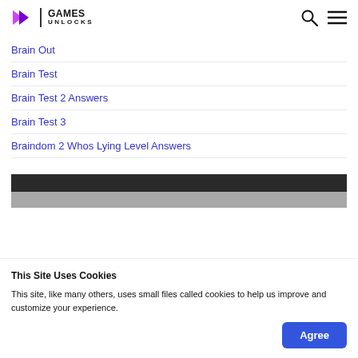GAMES UNLOCKS
Brain Out
Brain Test
Brain Test 2 Answers
Brain Test 3
Braindom 2 Whos Lying Level Answers
[Figure (other): Advertisement banner with dark and gray horizontal bars]
This Site Uses Cookies
This site, like many others, uses small files called cookies to help us improve and customize your experience.